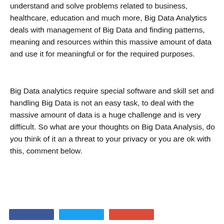understand and solve problems related to business, healthcare, education and much more, Big Data Analytics deals with management of Big Data and finding patterns, meaning and resources within this massive amount of data and use it for meaningful or for the required purposes.
Big Data analytics require special software and skill set and handling Big Data is not an easy task, to deal with the massive amount of data is a huge challenge and is very difficult. So what are your thoughts on Big Data Analysis, do you think of it an a threat to your privacy or you are ok with this, comment below.
[Figure (other): Three social sharing buttons: Facebook (blue), Twitter (light blue), Google+ (red)]